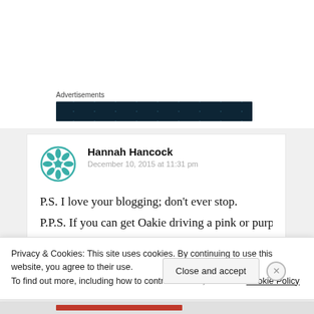Advertisements
[Figure (other): Dark teal advertisement banner with dot pattern]
Hannah Hancock
December 10, 2015 at 11:31 pm
P.S. I love your blogging; don't ever stop.
P.P.S. If you can get Oakie driving a pink or purple
Privacy & Cookies: This site uses cookies. By continuing to use this website, you agree to their use.
To find out more, including how to control cookies, see here: Cookie Policy
Close and accept